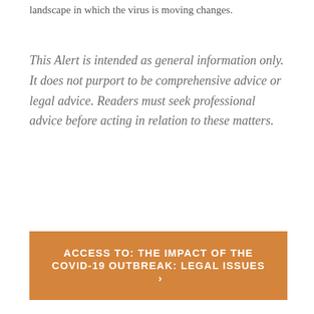landscape in which the virus is moving changes.
This Alert is intended as general information only. It does not purport to be comprehensive advice or legal advice. Readers must seek professional advice before acting in relation to these matters.
[Figure (infographic): Orange call-to-action button with text: ACCESS TO: THE IMPACT OF THE COVID-19 OUTBREAK: LEGAL ISSUES ›]